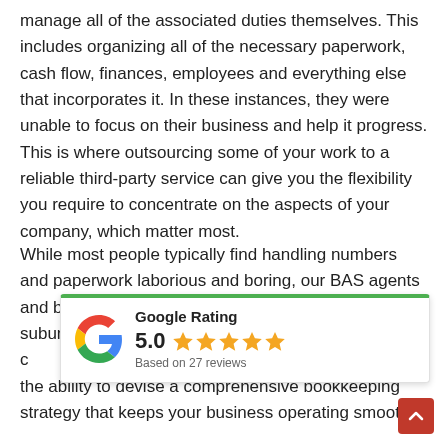manage all of the associated duties themselves. This includes organizing all of the necessary paperwork, cash flow, finances, employees and everything else that incorporates it. In these instances, they were unable to focus on their business and help it progress. This is where outsourcing some of your work to a reliable third-party service can give you the flexibility you require to concentrate on the aspects of your company, which matter most.
While most people typically find handling numbers and paperwork laborious and boring, our BAS agents and bookkeepers in Camberwell and surrounding suburbs live for th[...] ation policies and c[...] ertise. Our accountants m[...] and will have the ability to devise a comprehensive bookkeeping strategy that keeps your business operating smoothly.
[Figure (other): Google Rating widget showing 5.0 stars based on 27 reviews, with Google 'G' logo and green top border]